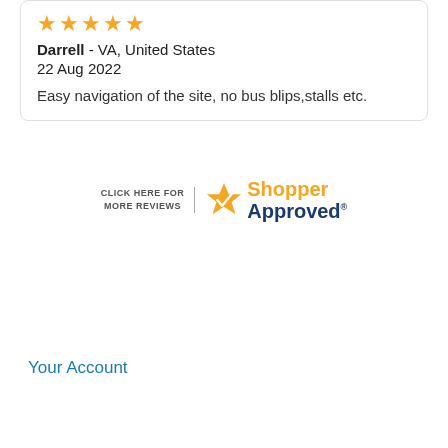[Figure (other): Five orange star rating icons]
Darrell  - VA, United States
22 Aug 2022
Easy navigation of the site, no bus blips,stalls etc.
[Figure (logo): Shopper Approved badge with text CLICK HERE FOR MORE REVIEWS and star logo with Shopper Approved text]
Your Account